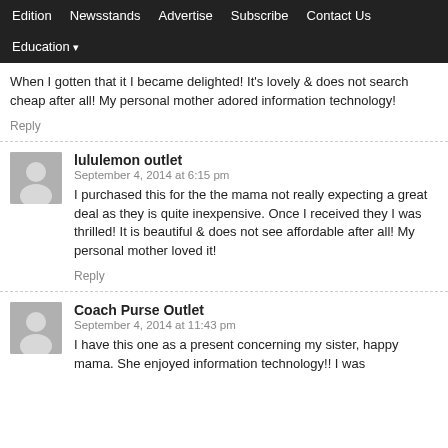Edition | Newsstands | Advertise | Subscribe | Contact Us | Education
When I gotten that it I became delighted! It's lovely & does not search cheap after all! My personal mother adored information technology!
Reply
lululemon outlet
September 4, 2014 at 6:15 pm
I purchased this for the the mama not really expecting a great deal as they is quite inexpensive. Once I received they I was thrilled! It is beautiful & does not see affordable after all! My personal mother loved it!
Reply
Coach Purse Outlet
September 4, 2014 at 11:43 pm
I have this one as a present concerning my sister, happy mama. She enjoyed information technology!! I was